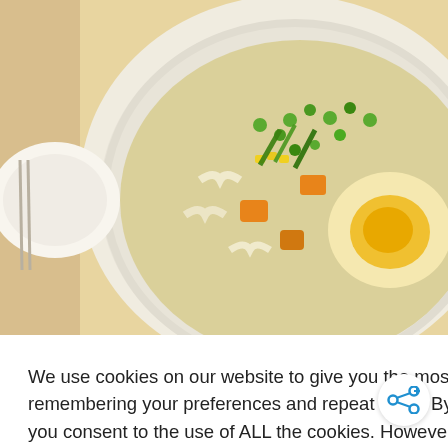[Figure (photo): Food photo showing a bowl of soup or stew with macaroni, vegetables (peas, carrots, corn, green onions), and a fried egg on top, in a white bowl. Additional white bowls and utensils visible in background.]
We use cookies on our website to give you the most relevant experience by remembering your preferences and repeat visits. By clicking “ACCEPT ALL”, you consent to the use of ALL the cookies. However, you may visit “Cookie Settings” to provide a controlled consent.
Cookie Settings
REJECT ALL
ACCEPT ALL
ng Kong